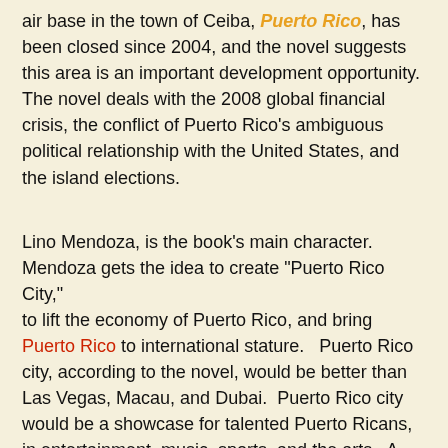air base in the town of Ceiba, Puerto Rico, has been closed since 2004, and the novel suggests this area is an important development opportunity.  The novel deals with the 2008 global financial crisis, the conflict of Puerto Rico's ambiguous political relationship with the United States, and the island elections.
Lino Mendoza, is the book's main character.  Mendoza gets the idea to create "Puerto Rico City," to lift the economy of Puerto Rico, and bring Puerto Rico to international stature.   Puerto Rico city, according to the novel, would be better than Las Vegas, Macau, and Dubai.  Puerto Rico city would be a showcase for talented Puerto Ricans, in entertainment, music, sports, and the arts.  A place where everybody wants to be and be seen.  Lino Mendoza is in a race against time.  There will be no second chance to build Puerto Rico City.
Interesting to note, is that the current government of Puerto Rico, Governor Fortuño administration, has plans to